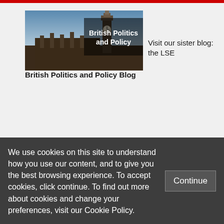[Figure (logo): British Politics and Policy blog banner showing Big Ben and Houses of Parliament with text overlay 'British Politics and Policy']
Visit our sister blog: the LSE British Politics and Policy Blog
[Figure (logo): LSE logo - red square with 'lse' text and 'THE LONDON SCHOOL' text beside it]
We use cookies on this site to understand how you use our content, and to give you the best browsing experience. To accept cookies, click continue. To find out more about cookies and change your preferences, visit our Cookie Policy.